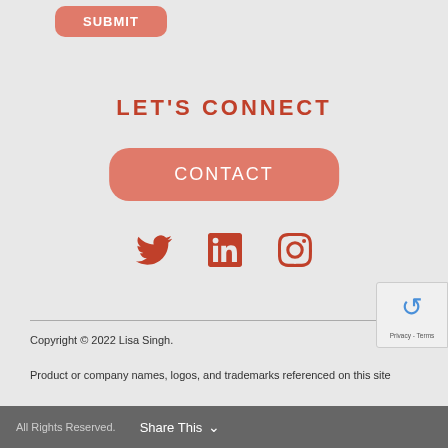[Figure (other): SUBMIT button — salmon/coral rounded rectangle with white uppercase text]
LET'S CONNECT
[Figure (other): CONTACT button — large salmon/coral rounded rectangle with white uppercase text]
[Figure (other): Three social media icons in coral/red: Twitter bird, LinkedIn 'in', and Instagram camera]
Copyright © 2022 Lisa Singh.
Product or company names, logos, and trademarks referenced on this site belong to their respective owners and are for identification purposes only.
All Rights Reserved.  Share This